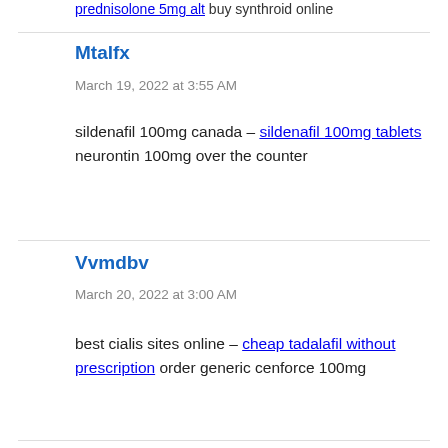prednisolone 5mg alt buy synthroid online
Mtalfx
March 19, 2022 at 3:55 AM
sildenafil 100mg canada – sildenafil 100mg tablets neurontin 100mg over the counter
Vvmdbv
March 20, 2022 at 3:00 AM
best cialis sites online – cheap tadalafil without prescription order generic cenforce 100mg